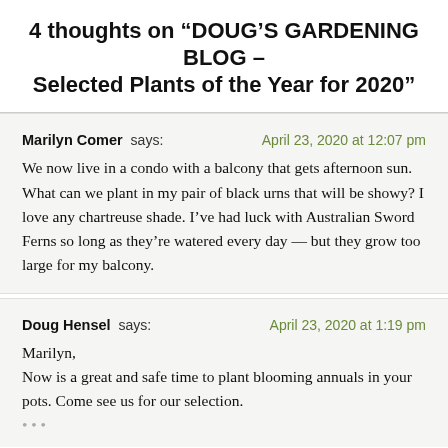4 thoughts on “DOUG’S GARDENING BLOG – Selected Plants of the Year for 2020”
Marilyn Comer says:   April 23, 2020 at 12:07 pm
We now live in a condo with a balcony that gets afternoon sun. What can we plant in my pair of black urns that will be showy? I love any chartreuse shade. I’ve had luck with Australian Sword Ferns so long as they’re watered every day — but they grow too large for my balcony.
Doug Hensel says:   April 23, 2020 at 1:19 pm
Marilyn,
Now is a great and safe time to plant blooming annuals in your pots. Come see us for our selection.